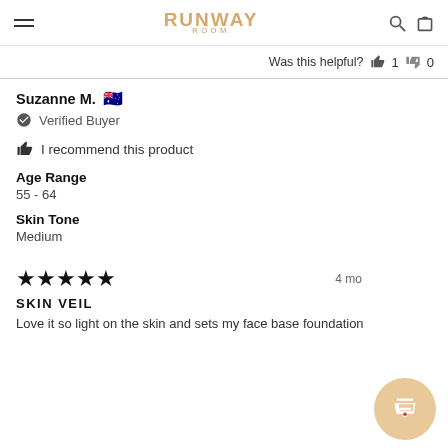RUNWAY ROOM
Was this helpful? 👍 1 👎 0
Suzanne M. 🇦🇺
✅ Verified Buyer
👍 I recommend this product
Age Range
55 - 64
Skin Tone
Medium
★★★★★  4 mo
SKIN VEIL
Love it so light on the skin and sets my face base foundation